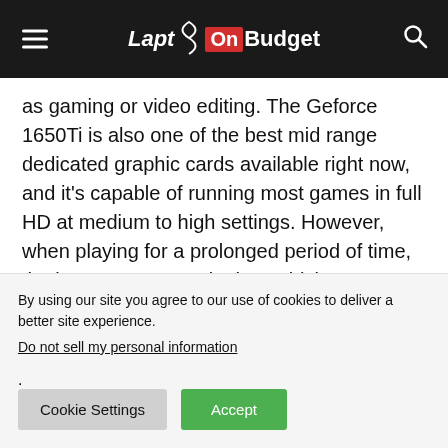Laptop On Budget
as gaming or video editing. The Geforce 1650Ti is also one of the best mid range dedicated graphic cards available right now, and it's capable of running most games in full HD at medium to high settings. However, when playing for a prolonged period of time, the laptop can get quite hot, which can get affect performance. This is actually not surprising, considering how thin the laptop is, at
By using our site you agree to our use of cookies to deliver a better site experience.
Do not sell my personal information.